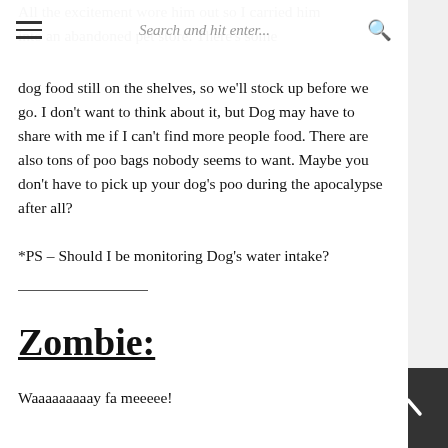Search and hit enter...
All the excitement wore him out so I carried him into an abandoned pet store. There's some dog food still on the shelves, so we'll stock up before we go. I don't want to think about it, but Dog may have to share with me if I can't find more people food. There are also tons of poo bags nobody seems to want. Maybe you don't have to pick up your dog's poo during the apocalypse after all?
*PS – Should I be monitoring Dog's water intake?
Zombie:
Waaaaaaaaay fa meeeee!